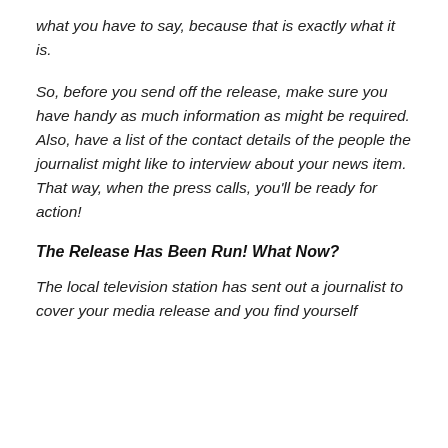what you have to say, because that is exactly what it is.
So, before you send off the release, make sure you have handy as much information as might be required. Also, have a list of the contact details of the people the journalist might like to interview about your news item. That way, when the press calls, you'll be ready for action!
The Release Has Been Run! What Now?
The local television station has sent out a journalist to cover your media release and you find yourself